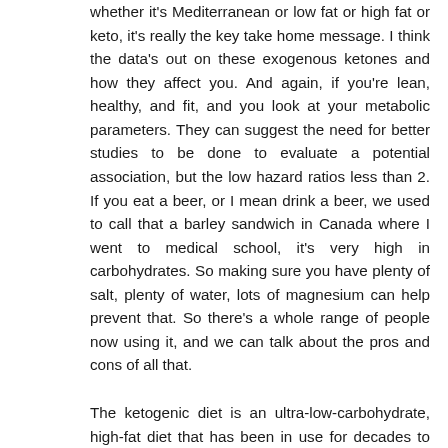whether it's Mediterranean or low fat or high fat or keto, it's really the key take home message. I think the data's out on these exogenous ketones and how they affect you. And again, if you're lean, healthy, and fit, and you look at your metabolic parameters. They can suggest the need for better studies to be done to evaluate a potential association, but the low hazard ratios less than 2. If you eat a beer, or I mean drink a beer, we used to call that a barley sandwich in Canada where I went to medical school, it's very high in carbohydrates. So making sure you have plenty of salt, plenty of water, lots of magnesium can help prevent that. So there's a whole range of people now using it, and we can talk about the pros and cons of all that.
The ketogenic diet is an ultra-low-carbohydrate, high-fat diet that has been in use for decades to treat certain medical conditions. Today, adherents claim that it will help you drop pounds while boosting your energy levels and controlling your blood sugar. Its promise of fast and aggressive weight loss is a compelling one in our world of